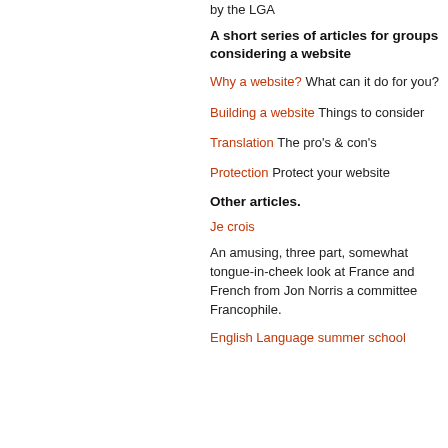by the LGA
A short series of articles for groups considering a website
Why a website? What can it do for you?
Building a website Things to consider
Translation The pro's & con's
Protection Protect your website
Other articles.
Je crois
An amusing, three part, somewhat tongue-in-cheek look at France and French from Jon Norris a committee Francophile.
English Language summer school